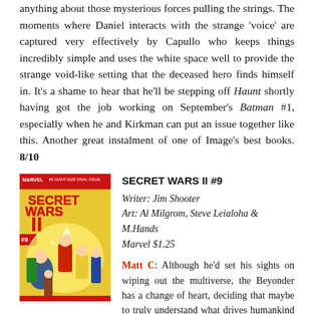anything about those mysterious forces pulling the strings. The moments where Daniel interacts with the strange 'voice' are captured very effectively by Capullo who keeps things incredibly simple and uses the white space well to provide the strange void-like setting that the deceased hero finds himself in. It's a shame to hear that he'll be stepping off Haunt shortly having got the job working on September's Batman #1, especially when he and Kirkman can put an issue together like this. Another great instalment of one of Image's best books. 8/10
[Figure (illustration): Comic book cover of Secret Wars II #9, Marvel Comics. Shows colorful superhero battle scene with multiple characters.]
SECRET WARS II #9
Writer: Jim Shooter
Art: Al Milgrom, Steve Leialoha & M.Hands
Marvel $1.25
Matt C: Although he'd set his sights on wiping out the multiverse, the Beyonder has a change of heart, deciding that maybe to truly understand what drives humankind he must forsake immortality and become one